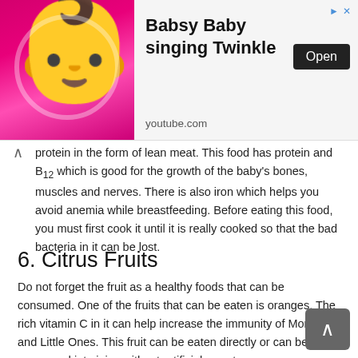[Figure (infographic): Advertisement banner: animated baby cartoon on pink background with text 'Babsy Baby singing Twinkle' and Open button, youtube.com]
protein in the form of lean meat. This food has protein and B12 which is good for the growth of the baby's bones, muscles and nerves. There is also iron which helps you avoid anemia while breastfeeding. Before eating this food, you must first cook it until it is really cooked so that the bad bacteria in it can be lost.
6.  Citrus Fruits
Do not forget the fruit as a healthy foods that can be consumed. One of the fruits that can be eaten is oranges. The rich vitamin C in it can help increase the immunity of Moms and Little Ones. This fruit can be eaten directly or can be processed into juice without artificial sweeteners.
7.  Avocado
If you are entering the second trimester of pregnancy, you can eat